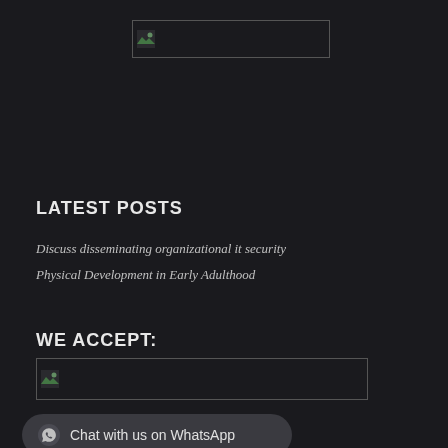[Figure (logo): Logo image (broken/loading) in top center area]
LATEST POSTS
Discuss disseminating organizational it security
Physical Development in Early Adulthood
WE ACCEPT:
[Figure (other): Payment methods image (broken/loading)]
Chat with us on WhatsApp